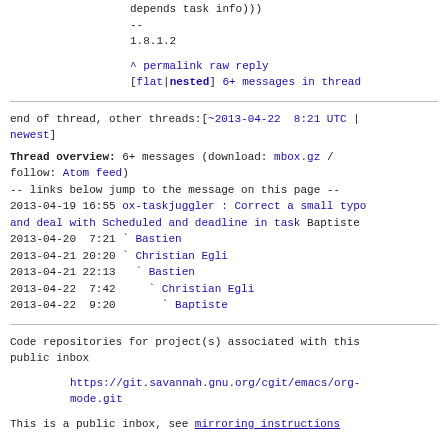depends task info)))
--
1.8.1.2
^ permalink raw reply [flat|nested] 6+ messages in thread
end of thread, other threads:[~2013-04-22  8:21 UTC | newest]
Thread overview: 6+ messages (download: mbox.gz / follow: Atom feed)
-- links below jump to the message on this page --
2013-04-19 16:55 ox-taskjuggler : Correct a small typo and deal with Scheduled and deadline in task Baptiste
2013-04-20  7:21 ` Bastien
2013-04-21 20:20 ` Christian Egli
2013-04-21 22:13   ` Bastien
2013-04-22  7:42     ` Christian Egli
2013-04-22  9:20       ` Baptiste
Code repositories for project(s) associated with this public inbox
https://git.savannah.gnu.org/cgit/emacs/org-mode.git
This is a public inbox, see mirroring instructions